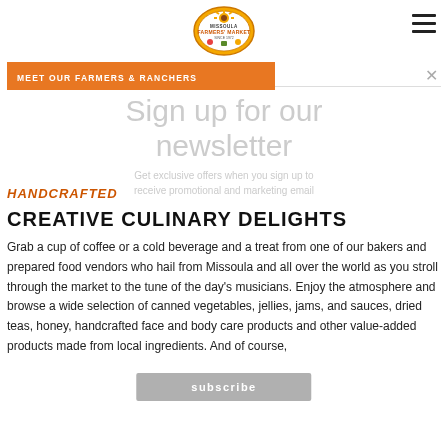[Figure (logo): Missoula Farmers Market circular logo with sunflower, fruits, and vegetables]
MEET OUR FARMERS & RANCHERS
Sign up for our newsletter
Get exclusive offers when you sign up to receive promotional and marketing email
subscribe
HANDCRAFTED
CREATIVE CULINARY DELIGHTS
Grab a cup of coffee or a cold beverage and a treat from one of our bakers and prepared food vendors who hail from Missoula and all over the world as you stroll through the market to the tune of the day's musicians. Enjoy the atmosphere and browse a wide selection of canned vegetables, jellies, jams, and sauces, dried teas, honey, handcrafted face and body care products and other value-added products made from local ingredients. And of course,